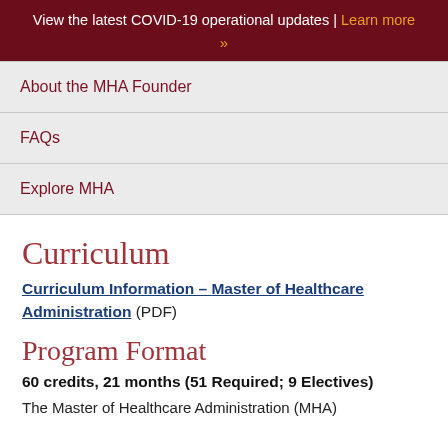View the latest COVID-19 operational updates | Learn more »
About the MHA Founder
FAQs
Explore MHA
Curriculum
Curriculum Information – Master of Healthcare Administration (PDF)
Program Format
60 credits, 21 months (51 Required; 9 Electives)
The Master of Healthcare Administration (MHA)